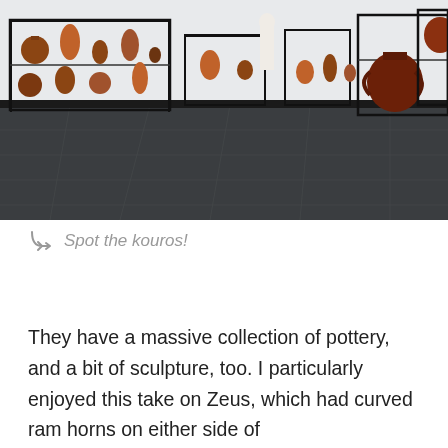[Figure (photo): Interior of a museum gallery with dark slate flooring, white walls, and multiple glass display cases containing ancient Greek pottery — amphorae, cups, and other ceramic vessels in red-figure and black-figure styles. A small white marble kouros statue is visible in the background center.]
↳  Spot the kouros!
They have a massive collection of pottery, and a bit of sculpture, too. I particularly enjoyed this take on Zeus, which had curved ram horns on either side of